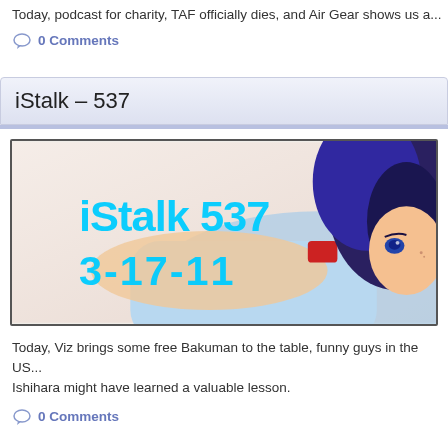Today, podcast for charity, TAF officially dies, and Air Gear shows us a...
0 Comments
iStalk – 537
[Figure (illustration): iStalk 537 banner image dated 3-17-11, showing anime character with blue/purple hair lying down, with cyan stylized text 'iStalk 537' and '3-17-11' overlaid on the left side]
Today, Viz brings some free Bakuman to the table, funny guys in the US..., Ishihara might have learned a valuable lesson.
0 Comments